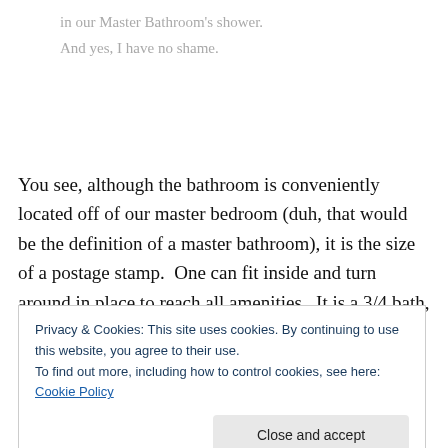in our Master Bathroom's shower.
And yes, I have no shame.
You see, although the bathroom is conveniently located off of our master bedroom (duh, that would be the definition of a master bathroom), it is the size of a postage stamp.  One can fit inside and turn around in place to reach all amenities.  It is a 3/4 bath, which is a bathroom with a
Privacy & Cookies: This site uses cookies. By continuing to use this website, you agree to their use.
To find out more, including how to control cookies, see here: Cookie Policy
Close and accept